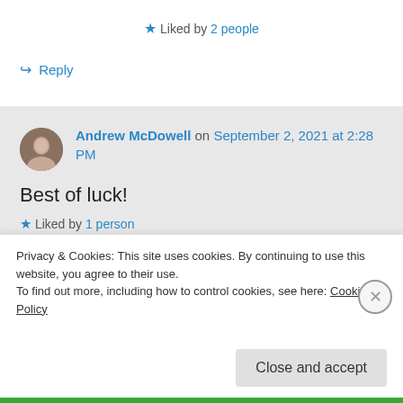★ Liked by 2 people
↪ Reply
Andrew McDowell on September 2, 2021 at 2:28 PM
Best of luck!
★ Liked by 1 person
↪ Reply
Privacy & Cookies: This site uses cookies. By continuing to use this website, you agree to their use.
To find out more, including how to control cookies, see here: Cookie Policy